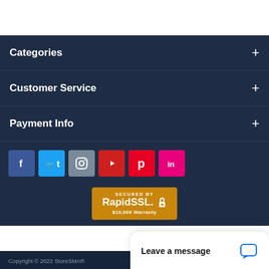Categories
Customer Service
Payment Info
[Figure (infographic): Social media icons: Facebook (blue), Twitter (light blue), Instagram (grey-blue), YouTube (red), Pinterest (red), LinkedIn (pink/magenta)]
[Figure (infographic): SECURED BY RapidSSL lock badge with $10,000 Warranty on gold/brown background]
Leave a message
Copyright © 2022 StoreSMAR